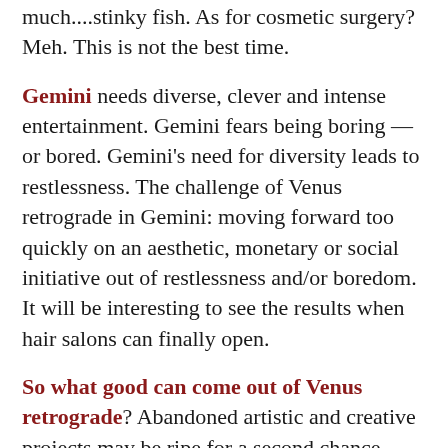much....stinky fish. As for cosmetic surgery? Meh. This is not the best time.
Gemini needs diverse, clever and intense entertainment. Gemini fears being boring — or bored. Gemini's need for diversity leads to restlessness. The challenge of Venus retrograde in Gemini: moving forward too quickly on an aesthetic, monetary or social initiative out of restlessness and/or boredom.  It will be interesting to see the results when hair salons can finally open.
So what good can come out of Venus retrograde? Abandoned artistic and creative projects may be ripe for a second chance. Relationships from the past may return. Romantic...